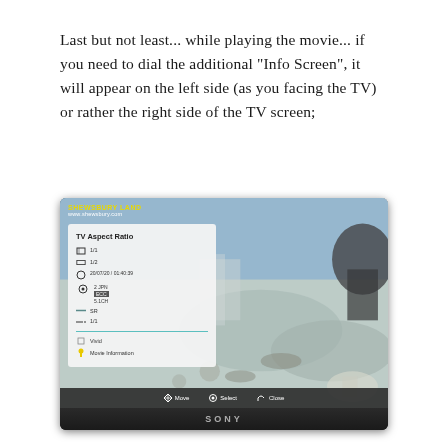Last but not least... while playing the movie... if you need to dial the additional "Info Screen", it will appear on the left side (as you facing the TV) or rather the right side of the TV screen;
[Figure (screenshot): Screenshot of a Sony TV displaying a movie scene with a 'TV Aspect Ratio' info panel overlay on the left side. The panel shows options including aspect ratio icons, time code 20/07/20 / 01:40:39, 2 JPN, ECC, 5.1CH, and bottom navigation for Move, Select, Close. Watermark reads 'SHEWSBURY LAND www.shewsbury.com'. The TV has a Sony logo on the bezel.]